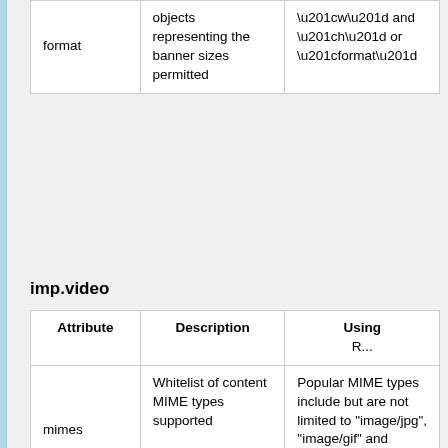|  | Attribute | Description | Using |
| --- | --- | --- | --- |
| format |  | objects representing the banner sizes permitted | “w” and “h” or “format” |
imp.video
| Attribute | Description | Using A... |
| --- | --- | --- |
| mimes | Whitelist of content MIME types supported | Popular MIME types include but are not limited to "image/jpg", "image/gif" and "application/x-shockwave-flash" |